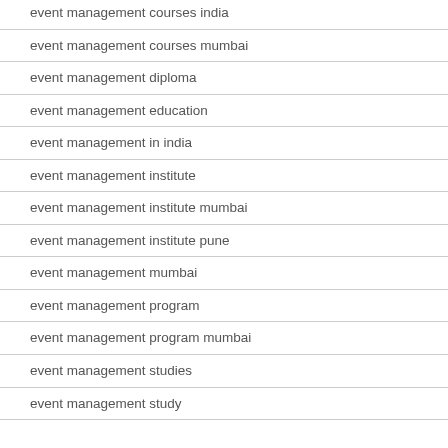event management courses india
event management courses mumbai
event management diploma
event management education
event management in india
event management institute
event management institute mumbai
event management institute pune
event management mumbai
event management program
event management program mumbai
event management studies
event management study